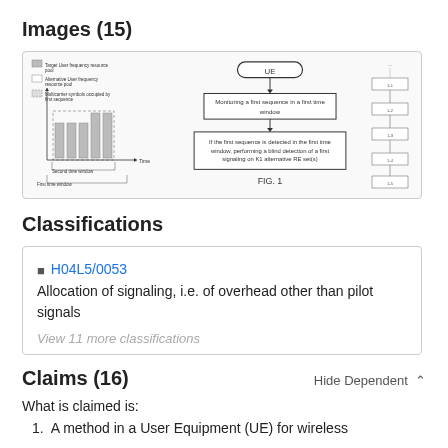Images (15)
[Figure (flowchart): Patent figures showing frequency/time diagram on left, flowchart in center (UE -> Monitoring a first sequence in a first time window -> If the first sequence is detected in the first time window, performing a blind detection of a first signaling on K1 alternative RE set(s)), labeled FIG. 1, and a circuit/network diagram on right.]
Classifications
H04L5/0053  Allocation of signaling, i.e. of overhead other than pilot signals
View 11 more classifications
Claims (16)
Hide Dependent
What is claimed is:
1. A method in a User Equipment (UE) for wireless